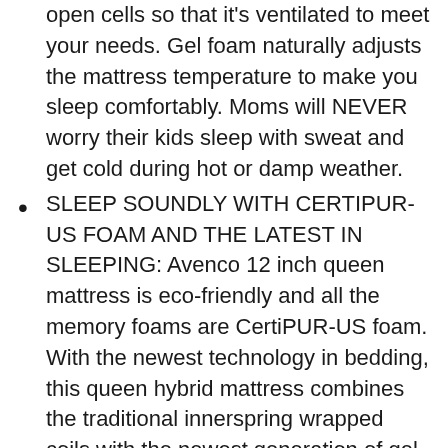open cells so that it's ventilated to meet your needs. Gel foam naturally adjusts the mattress temperature to make you sleep comfortably. Moms will NEVER worry their kids sleep with sweat and get cold during hot or damp weather.
SLEEP SOUNDLY WITH CERTIPUR-US FOAM AND THE LATEST IN SLEEPING: Avenco 12 inch queen mattress is eco-friendly and all the memory foams are CertiPUR-US foam. With the newest technology in bedding, this queen hybrid mattress combines the traditional innerspring wrapped coils with the newest generation of gel memory foam for an optimal sleep experience. A great queen size